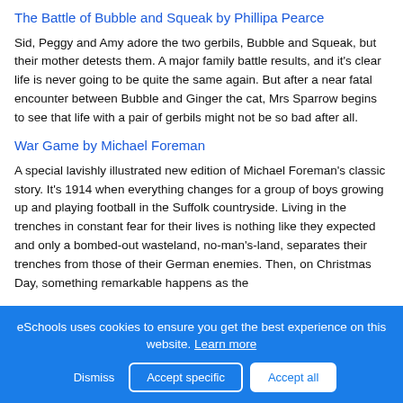The Battle of Bubble and Squeak by Phillipa Pearce
Sid, Peggy and Amy adore the two gerbils, Bubble and Squeak, but their mother detests them. A major family battle results, and it's clear life is never going to be quite the same again. But after a near fatal encounter between Bubble and Ginger the cat, Mrs Sparrow begins to see that life with a pair of gerbils might not be so bad after all.
War Game by Michael Foreman
A special lavishly illustrated new edition of Michael Foreman's classic story. It's 1914 when everything changes for a group of boys growing up and playing football in the Suffolk countryside. Living in the trenches in constant fear for their lives is nothing like they expected and only a bombed-out wasteland, no-man's-land, separates their trenches from those of their German enemies. Then, on Christmas Day, something remarkable happens as the
eSchools uses cookies to ensure you get the best experience on this website. Learn more
Dismiss  Accept specific  Accept all